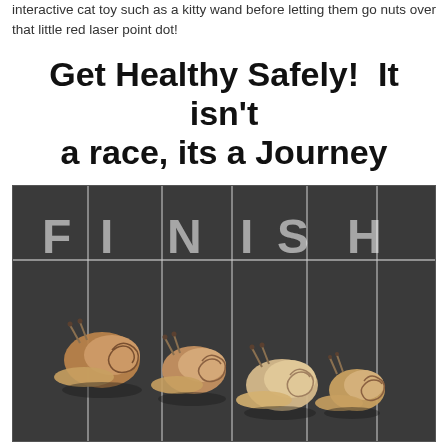interactive cat toy such as a kitty wand before letting them go nuts over that little red laser point dot!
Get Healthy Safely!  It isn't a race, its a Journey
[Figure (photo): Photo of four snails on a dark asphalt track with white lane lines and the word FINISH painted in large white letters across the lanes]